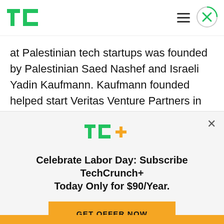[Figure (logo): TechCrunch TC green logo in top left header]
at Palestinian tech startups was founded by Palestinian Saed Nashef and Israeli Yadin Kaufmann. Kaufmann founded helped start Veritas Venture Partners in 1990 and funded Accord Networks, a videoconferencing company that went public in 2000, and Ubique, an instant messaging pioneer that was bought by AOL in 1995. Sadara
[Figure (logo): TC+ green and yellow logo in ad banner]
Celebrate Labor Day: Subscribe TechCrunch+ Today Only for $90/Year.
GET OFFER NOW